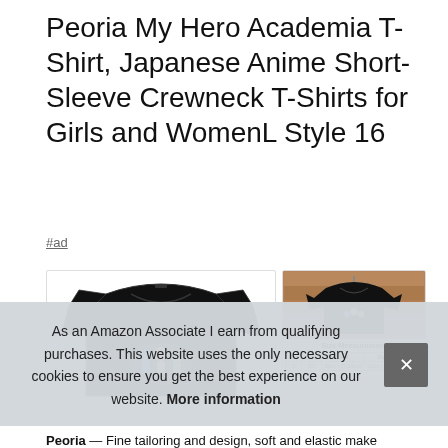Peoria My Hero Academia T-Shirt, Japanese Anime Short-Sleeve Crewneck T-Shirts for Girls and WomenL Style 16
#ad
[Figure (photo): Two product images side by side: left shows a black anime crewneck t-shirt laid flat with My Hero Academia characters printed on it; right shows the same t-shirt hanging on a hanger plus a size measurement chart below it.]
As an Amazon Associate I earn from qualifying purchases. This website uses the only necessary cookies to ensure you get the best experience on our website. More information
Peoria — Fine tailoring and design, soft and elastic make